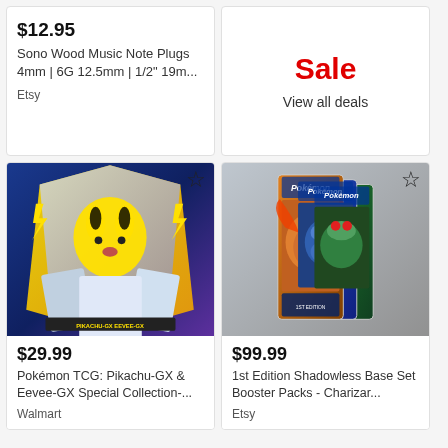$12.95
Sono Wood Music Note Plugs 4mm | 6G 12.5mm | 1/2" 19m...
Etsy
Sale
View all deals
[Figure (photo): Pokémon TCG Pikachu-GX & Eevee-GX Special Collection box with cards displayed]
$29.99
Pokémon TCG: Pikachu-GX & Eevee-GX Special Collection-...
Walmart
[Figure (photo): Three 1st Edition Shadowless Base Set Pokémon Booster Packs showing Charizard, Blastoise, and Venusaur artwork]
$99.99
1st Edition Shadowless Base Set Booster Packs - Charizar...
Etsy